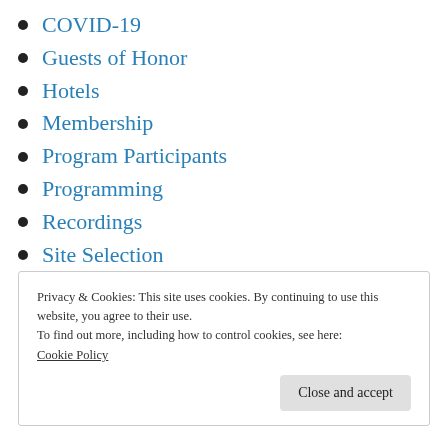COVID-19
Guests of Honor
Hotels
Membership
Program Participants
Programming
Recordings
Site Selection
Volunteers
Privacy & Cookies: This site uses cookies. By continuing to use this website, you agree to their use.
To find out more, including how to control cookies, see here:
Cookie Policy
Close and accept